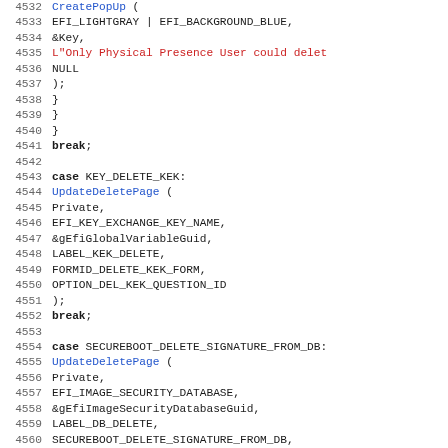[Figure (screenshot): Source code listing showing C/C++ code for a UEFI secure boot key management switch-case block, lines 4532-4563, with line numbers in gray, keywords in bold, function calls in blue, and a string literal in red.]